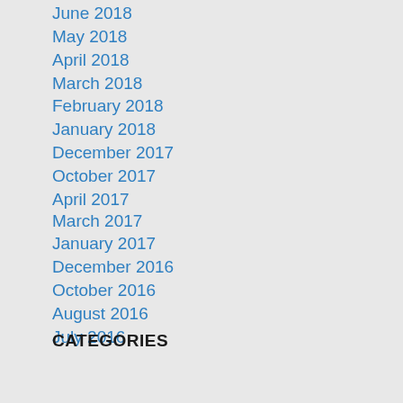June 2018
May 2018
April 2018
March 2018
February 2018
January 2018
December 2017
October 2017
April 2017
March 2017
January 2017
December 2016
October 2016
August 2016
July 2016
CATEGORIES